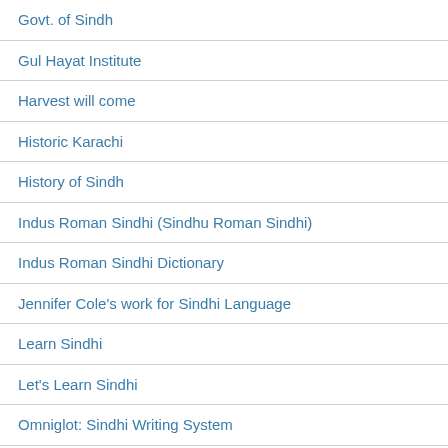Govt. of Sindh
Gul Hayat Institute
Harvest will come
Historic Karachi
History of Sindh
Indus Roman Sindhi (Sindhu Roman Sindhi)
Indus Roman Sindhi Dictionary
Jennifer Cole's work for Sindhi Language
Learn Sindhi
Let's Learn Sindhi
Omniglot: Sindhi Writing System
Online Sindhi Dictionaries
Photo Gallery of Sindh